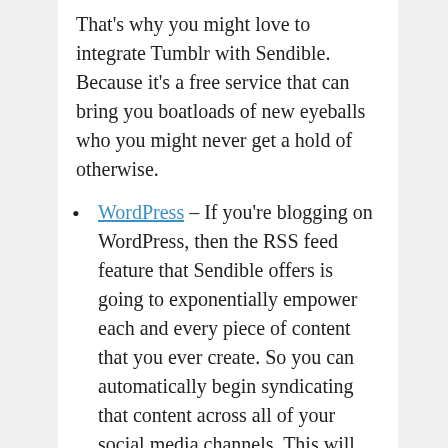That's why you might love to integrate Tumblr with Sendible. Because it's a free service that can bring you boatloads of new eyeballs who you might never get a hold of otherwise.
WordPress – If you're blogging on WordPress, then the RSS feed feature that Sendible offers is going to exponentially empower each and every piece of content that you ever create. So you can automatically begin syndicating that content across all of your social media channels. This will enable you to promote your content like gangbusters, while at the same